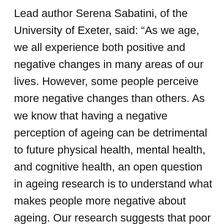Lead author Serena Sabatini, of the University of Exeter, said: “As we age, we all experience both positive and negative changes in many areas of our lives. However, some people perceive more negative changes than others. As we know that having a negative perception of ageing can be detrimental to future physical health, mental health, and cognitive health, an open question in ageing research is to understand what makes people more negative about ageing. Our research suggests that poor sleepers feel older, and have a more negative perception of their ageing. We need to study this further – one explanation could be that a more negative outlook influences both. However, it could be a sign that addressing sleep difficulties could promote a better perception of ageing, which could have other health